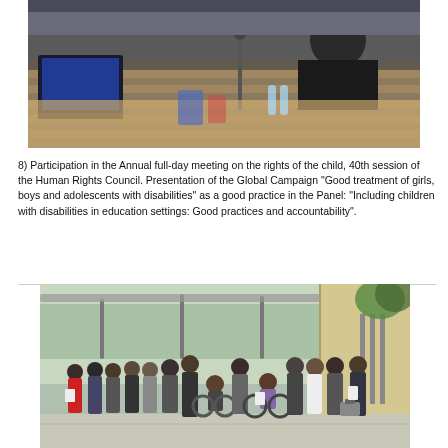[Figure (photo): Conference room photo showing a person at a desk with microphone and laptop screen visible, in a formal UN-style meeting hall with rows of seats in the background.]
8) Participation in the Annual full-day meeting on the rights of the child, 40th session of the Human Rights Council. Presentation of the Global Campaign "Good treatment of girls, boys and adolescents with disabilities" as a good practice in the Panel: "Including children with disabilities in education settings: Good practices and accountability".
[Figure (photo): Group photo of approximately 25 people, including individuals in wheelchairs, standing in front of a modern building entrance with glass canopy. The group includes men and women dressed in business attire.]